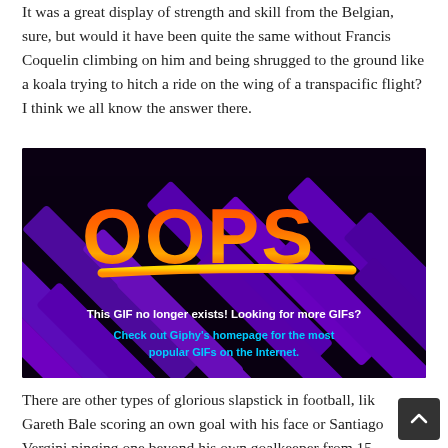It was a great display of strength and skill from the Belgian, sure, but would it have been quite the same without Francis Coquelin climbing on him and being shrugged to the ground like a koala trying to hitch a ride on the wing of a transpacific flight? I think we all know the answer there.
[Figure (screenshot): OOPS error image from Giphy. Black background with purple diagonal bars and colorful 'OOPS' text in orange-red gradient. White text reads 'This GIF no longer exists! Looking for more GIFs?' and cyan text reads 'Check out Giphy's homepage for the most popular GIFs on the Internet.']
There are other types of glorious slapstick in football, like Gareth Bale scoring an own goal with his face or Santiago Vergini pinging one beyond his own goalkeeper from 15 yards, but none compares to this famous cartoonishness